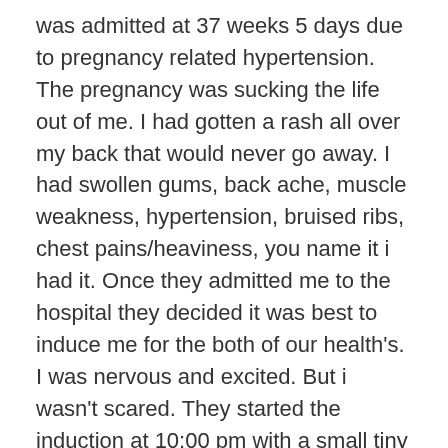was admitted at 37 weeks 5 days due to pregnancy related hypertension. The pregnancy was sucking the life out of me. I had gotten a rash all over my back that would never go away. I had swollen gums, back ache, muscle weakness, hypertension, bruised ribs, chest pains/heaviness, you name it i had it. Once they admitted me to the hospital they decided it was best to induce me for the both of our health's. I was nervous and excited. But i wasn't scared. They started the induction at 10:00 pm with a small tiny pill that sits behind the cervix to soften it up. Im unsure of the name. Just two hours later i was having contractions. Four hours after the first pill they decided to give me a second one and my last one. The contractions just sped up from there. They came in and had me sign a paper for a epidural. I signed it but also mentioned i didnt plan on getting one. As hours went by the pain increased and i just wanted sleep. So i asked for iv